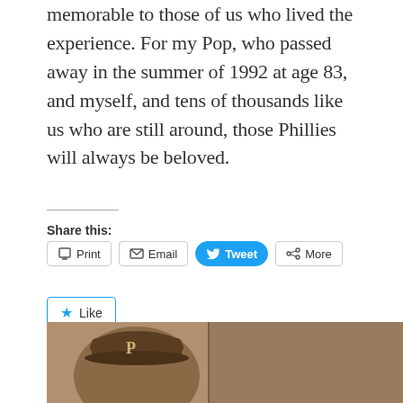memorable to those of us who lived the experience. For my Pop, who passed away in the summer of 1992 at age 83, and myself, and tens of thousands like us who are still around, those Phillies will always be beloved.
Share this:
Print | Email | Tweet | More
Like
Be the first to like this.
[Figure (photo): Sepia-toned photograph of a baseball player wearing a Philadelphia Phillies cap with the P logo]